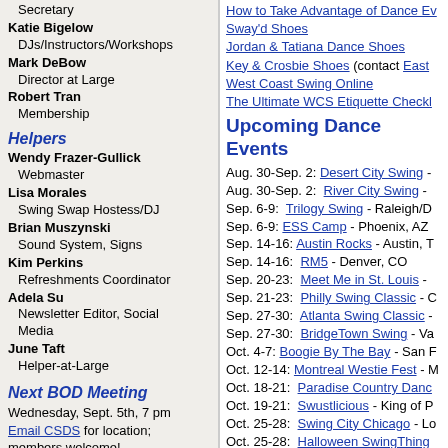Secretary
Katie Bigelow
  DJs/Instructors/Workshops
Mark DeBow
  Director at Large
Robert Tran
  Membership
Helpers
Wendy Frazer-Gullick
  Webmaster
Lisa Morales
  Swing Swap Hostess/DJ
Brian Muszynski
  Sound System, Signs
Kim Perkins
  Refreshments Coordinator
Adela Su
  Newsletter Editor, Social Media
June Taft
  Helper-at-Large
Next BOD Meeting
Wednesday, Sept. 5th, 7 pm
Email CSDS for location; members welcome!
~ Booty's Corner ~
How to Take Advantage of Dance Ev...
Sway'd Shoes
Jordan & Tatiana Dance Shoes
Key & Crosbie Shoes (contact East...)
West Coast Swing Online
The Ultimate WCS Etiquette Checkl...
Upcoming Dance Events
Aug. 30-Sep. 2: Desert City Swing -
Aug. 30-Sep. 2: River City Swing -
Sep. 6-9: Trilogy Swing - Raleigh/D
Sep. 6-9: ESS Camp - Phoenix, AZ
Sep. 14-16: Austin Rocks - Austin, T
Sep. 14-16: RM5 - Denver, CO
Sep. 20-23: Meet Me in St. Louis -
Sep. 21-23: Philly Swing Classic - C
Sep. 27-30: Atlanta Swing Classic -
Sep. 27-30: BridgeTown Swing - Va
Oct. 4-7: Boogie By The Bay - San F
Oct. 12-14: Montreal Westie Fest - M
Oct. 18-21: Paradise Country Danc...
Oct. 19-21: Swustlicious - King of P
Oct. 25-28: Swing City Chicago - Lo
Oct. 25-28: Halloween SwingThing
Nov. 2-4: Florida Westie Fest - Tam
Nov. 15-18: DC Swing eXperience
Nov. 21-25: US Open - Burbank, CA
Nov. 29-Dec. 2: Swingle Bell Rock -
Nov. 29-Dec. 2: The After Party - Irv
Dec. 6-9: Upstate Dance Challenge